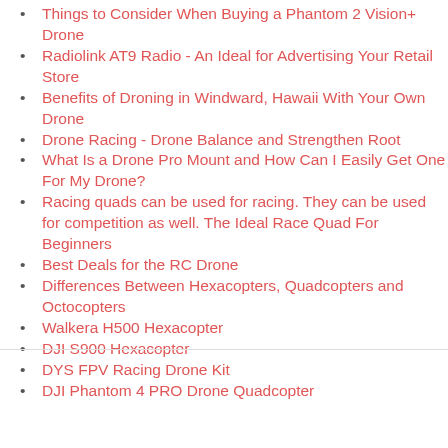Things to Consider When Buying a Phantom 2 Vision+ Drone
Radiolink AT9 Radio - An Ideal for Advertising Your Retail Store
Benefits of Droning in Windward, Hawaii With Your Own Drone
Drone Racing - Drone Balance and Strengthen Root
What Is a Drone Pro Mount and How Can I Easily Get One For My Drone?
Racing quads can be used for racing. They can be used for competition as well. The Ideal Race Quad For Beginners
Best Deals for the RC Drone
Differences Between Hexacopters, Quadcopters and Octocopters
Walkera H500 Hexacopter
DJI S900 Hexacopter
DYS FPV Racing Drone Kit
DJI Phantom 4 PRO Drone Quadcopter